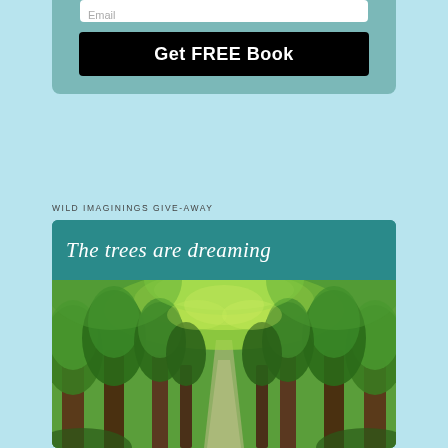[Figure (screenshot): Top portion of a teal card with white email input field and black 'Get FREE Book' button]
WILD IMAGININGS GIVE-AWAY
[Figure (photo): Book cover card with teal header showing italic text 'The trees are dreaming' and a photograph of a tree-lined avenue with large green chestnut trees forming a canopy over a path]